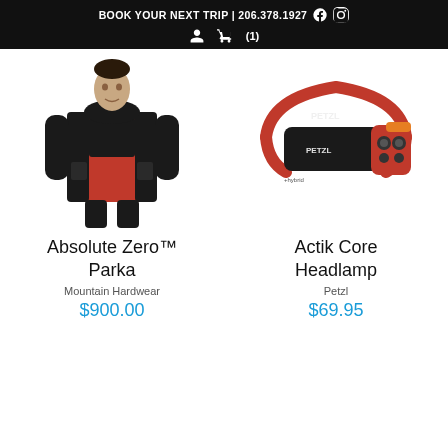BOOK YOUR NEXT TRIP | 206.378.1927
[Figure (illustration): Man wearing orange and black Mountain Hardwear Absolute Zero Parka]
[Figure (illustration): Petzl Actik Core headlamp with red band on white background]
Absolute Zero™ Parka
Actik Core Headlamp
Mountain Hardwear
Petzl
$900.00
$69.95